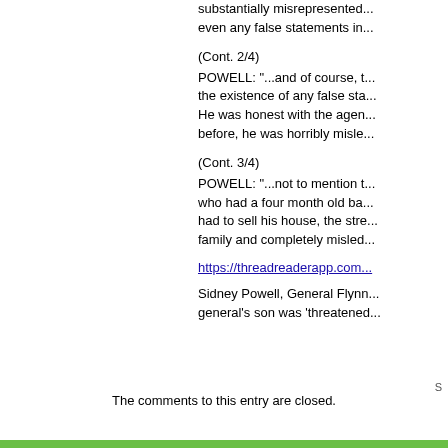substantially misrepresented... even any false statements in...
(Cont. 2/4)
POWELL: "...and of course, the existence of any false sta... He was honest with the agen... before, he was horribly misle...
(Cont. 3/4)
POWELL: "...not to mention t... who had a four month old ba... had to sell his house, the stre... family and completely misled...
https://threadreaderapp.com...
Sidney Powell, General Flynn... general's son was 'threatened...
S
The comments to this entry are closed.